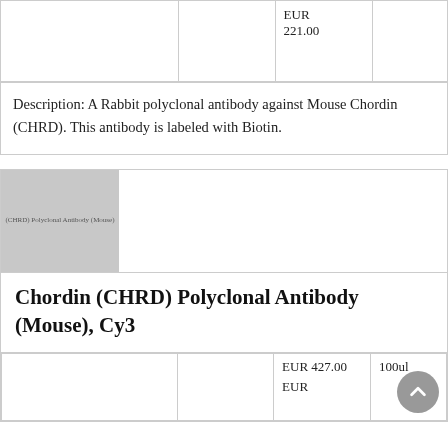|  |  | Price |  |
| --- | --- | --- | --- |
|  |  | EUR
221.00 |  |
Description: A Rabbit polyclonal antibody against Mouse Chordin (CHRD). This antibody is labeled with Biotin.
[Figure (photo): Product image placeholder for Chordin (CHRD) Polyclonal Antibody (Mouse), Cy3 — gray rectangle with small text label]
Chordin (CHRD) Polyclonal Antibody (Mouse), Cy3
|  |  | Price | Size |
| --- | --- | --- | --- |
|  |  | EUR 427.00
EUR | 100ul |